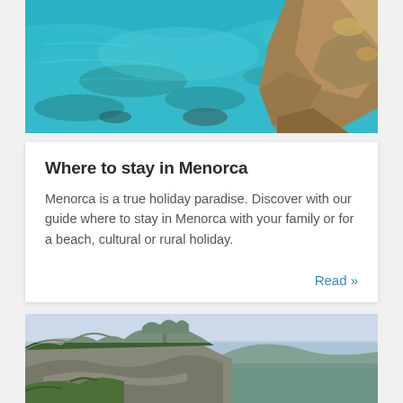[Figure (photo): Turquoise clear sea water with rocky shore, aerial view of Menorca coastline]
Where to stay in Menorca
Menorca is a true holiday paradise. Discover with our guide where to stay in Menorca with your family or for a beach, cultural or rural holiday.
Read »
[Figure (photo): Rocky limestone cliff coastline with lush green vegetation and calm sea, Menorca]